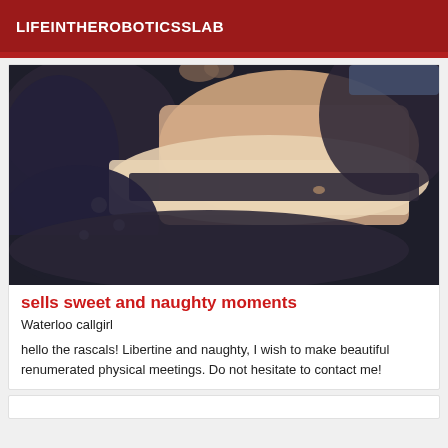LIFEINTHEROBOTICSSLAB
[Figure (photo): Close-up photo of a person's torso wearing dark lace lingerie against bare skin]
sells sweet and naughty moments
Waterloo callgirl
hello the rascals! Libertine and naughty, I wish to make beautiful renumerated physical meetings. Do not hesitate to contact me!